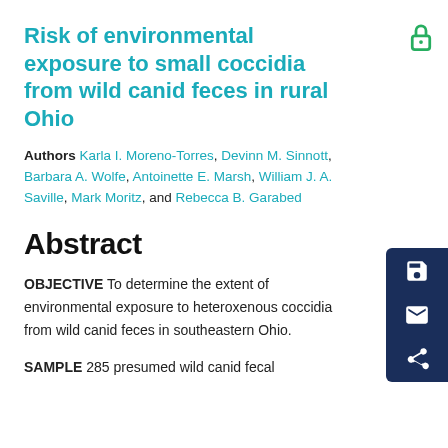Risk of environmental exposure to small coccidia from wild canid feces in rural Ohio
Authors Karla I. Moreno-Torres, Devinn M. Sinnott, Barbara A. Wolfe, Antoinette E. Marsh, William J. A. Saville, Mark Moritz, and Rebecca B. Garabed
Abstract
OBJECTIVE To determine the extent of environmental exposure to heteroxenous coccidia from wild canid feces in southeastern Ohio.
SAMPLE 285 presumed wild canid fecal